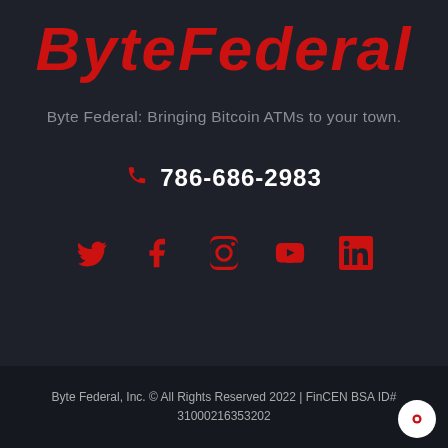ByteFederal
Byte Federal: Bringing Bitcoin ATMs to your town.
786-686-2983
[Figure (infographic): Social media icons row: Twitter, Facebook, Instagram, YouTube, LinkedIn — all in red]
Byte Federal, Inc. © All Rights Reserved 2022 | FinCEN BSA ID# 31000216353202